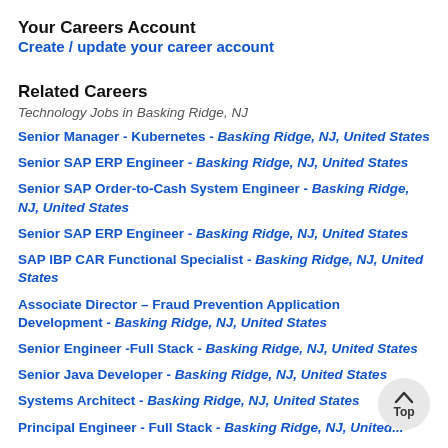Your Careers Account
Create / update your career account
Related Careers
Technology Jobs in Basking Ridge, NJ
Senior Manager - Kubernetes - Basking Ridge, NJ, United States
Senior SAP ERP Engineer - Basking Ridge, NJ, United States
Senior SAP Order-to-Cash System Engineer - Basking Ridge, NJ, United States
Senior SAP ERP Engineer - Basking Ridge, NJ, United States
SAP IBP CAR Functional Specialist - Basking Ridge, NJ, United States
Associate Director – Fraud Prevention Application Development - Basking Ridge, NJ, United States
Senior Engineer -Full Stack - Basking Ridge, NJ, United States
Senior Java Developer - Basking Ridge, NJ, United States
Systems Architect - Basking Ridge, NJ, United States
Principal Engineer - Full Stack - Basking Ridge, NJ, United States